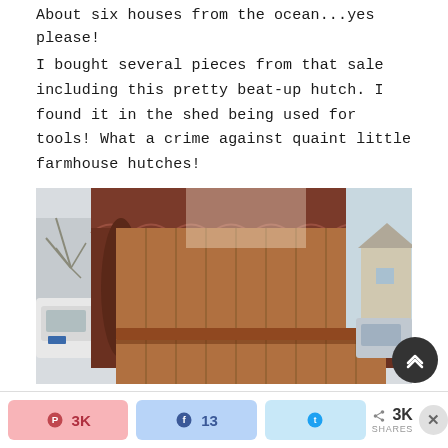About six houses from the ocean...yes please!
I bought several pieces from that sale including this pretty beat-up hutch. I found it in the shed being used for tools! What a crime against quaint little farmhouse hutches!
[Figure (photo): A wooden farmhouse hutch photographed outdoors, showing the top portion with a decorative scalloped valance in dark brown/reddish stain, with vertical wood panel backing and a shelf. A white vehicle is visible on the left side and trees and a house are visible in the background.]
3K  |  13  |  Twitter share  |  < 3K SHARES  |  X